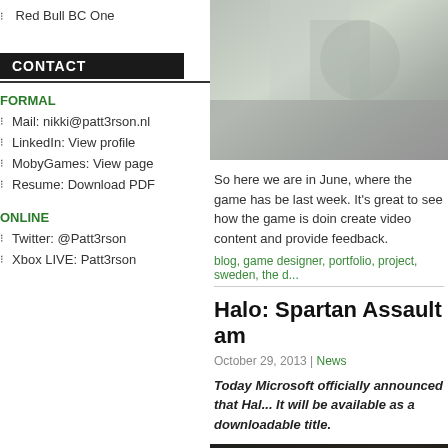Red Bull BC One
CONTACT
FORMAL
Mail: nikki@patt3rson.nl
LinkedIn: View profile
MobyGames: View page
Resume: Download PDF
ONLINE
Twitter: @Patt3rson
Xbox LIVE: Patt3rson
[Figure (photo): Close-up photo of textured grey/silver material]
So here we are in June, where the game has be... last week. It's great to see how the game is doin... create video content and provide feedback.
blog, game designer, portfolio, project, sweden, the d...
Halo: Spartan Assault am...
October 29, 2013 | News
Today Microsoft officially announced that Hal... It will be available as a downloadable title.
[Figure (photo): Dark scene showing armored figures, game screenshot]